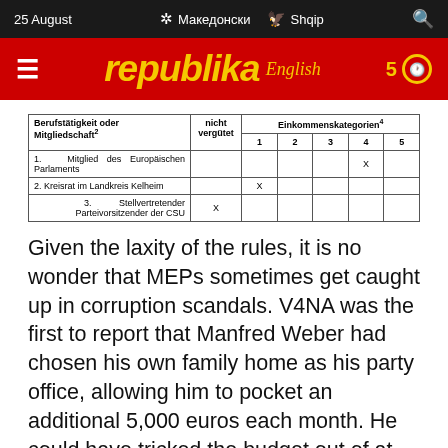25 August   Македонски   Shqip
[Figure (logo): Republika English news website logo on red background with hamburger menu and history badge]
| Berufstätigkeit oder Mitgliedschaft² | nicht vergütet | Einkommenskategorien⁴ 1 | Einkommenskategorien⁴ 2 | Einkommenskategorien⁴ 3 | Einkommenskategorien⁴ 4 | Einkommenskategorien⁴ 5 |
| --- | --- | --- | --- | --- | --- | --- |
| 1.   Mitglied des Europäischen Parlaments |  |  |  |  | X |  |
| 2. Kreisrat im Landkreis Kelheim |  | X |  |  |  |  |
| 3.          Stellvertretender Parteivorsitzender der CSU | X |  |  |  |  |  |
Given the laxity of the rules, it is no wonder that MEPs sometimes get caught up in corruption scandals. V4NA was the first to report that Manfred Weber had chosen his own family home as his party office, allowing him to pocket an additional 5,000 euros each month. He could have tricked the budget out of at least 400,000 euros until his chicanery was exposed by V4NA's journalists.